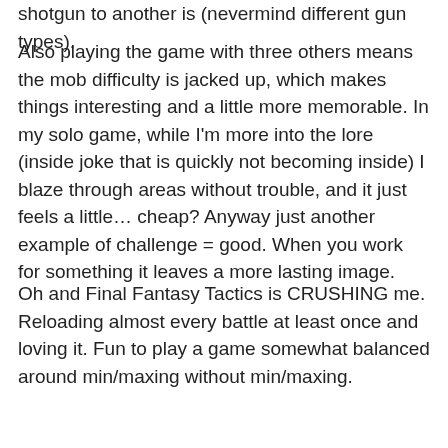shotgun to another is (nevermind different gun types).
Also playing the game with three others means the mob difficulty is jacked up, which makes things interesting and a little more memorable. In my solo game, while I'm more into the lore (inside joke that is quickly not becoming inside) I blaze through areas without trouble, and it just feels a little… cheap? Anyway just another example of challenge = good. When you work for something it leaves a more lasting image.
Oh and Final Fantasy Tactics is CRUSHING me. Reloading almost every battle at least once and loving it. Fun to play a game somewhat balanced around min/maxing without min/maxing.